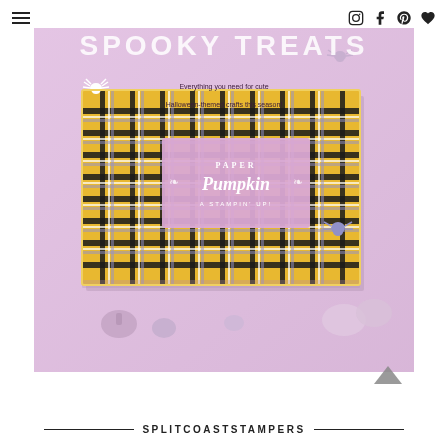Navigation bar with hamburger menu and social icons (Instagram, Facebook, Pinterest, heart/wishlist)
SPOOKY TREATS
Everything you need for cute Halloween-themed crafts this season!
[Figure (photo): Paper Pumpkin branded subscription box with yellow/gold plaid pattern, set against a lavender/pink background with decorative white spiders and small lavender pumpkins and mushrooms arranged around it. The box has a pink label in the center reading 'PAPER PUMPKIN STAMPING KIT'.]
[Figure (other): Upward-pointing chevron/caret arrow icon (scroll to top button)]
SPLITCOASTSTAMPERS